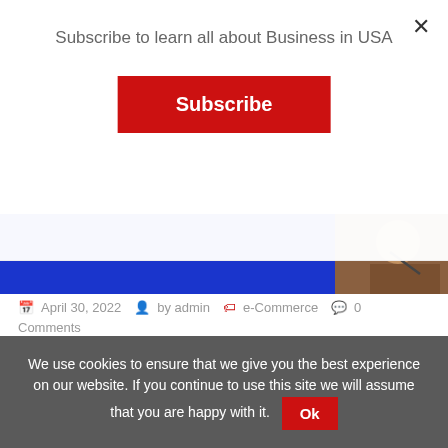Subscribe to learn all about Business in USA
[Figure (screenshot): Red Subscribe button on modal overlay]
[Figure (photo): Hero banner image with blue background and person writing on right side]
April 30, 2022   by admin   e-Commerce   0 Comments
The World Trade Organisation (WTO) defines e-commerce "as a commercial process that includes productions, distribution, sales or delivery of goods and services
We use cookies to ensure that we give you the best experience on our website. If you continue to use this site we will assume that you are happy with it. Ok